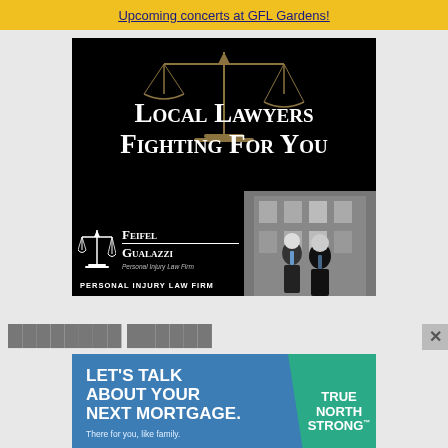Upcoming concerts at GFL Gardens!
[Figure (photo): Advertisement for Feifel Gualazzi Personal Injury Law Firm. Dark background with scales of justice image. Text reads 'Local Lawyers Fighting For You'. Logo with scales icon, firm name Feifel Gualazzi, Personal Injury Law Firm tagline, and two lawyers pictured in front of building.]
[Figure (photo): Advertisement: LET'S TALK ABOUT YOUR NEXT MORTGAGE. There for you, like family. True North Strong logo on teal/green banner on right side. Blue background.]